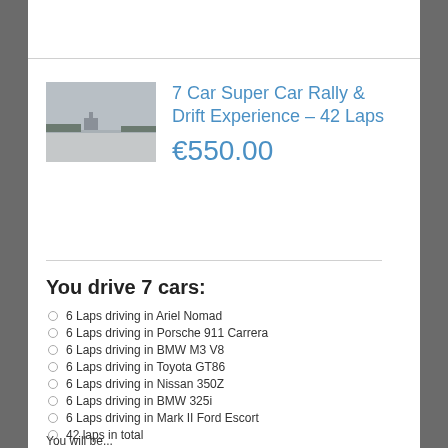[Figure (photo): Outdoor driving track or airfield scene, grey sky, small structure visible in distance]
7 Car Super Car Rally & Drift Experience – 42 Laps
€550.00
You drive 7 cars:
6 Laps driving in Ariel Nomad
6 Laps driving in Porsche 911 Carrera
6 Laps driving in BMW M3 V8
6 Laps driving in Toyota GT86
6 Laps driving in Nissan 350Z
6 Laps driving in BMW 325i
6 Laps driving in Mark II Ford Escort
42 laps in total
You will be...